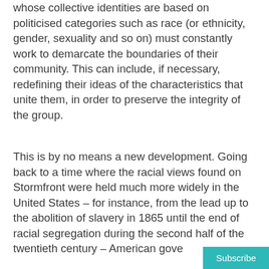whose collective identities are based on politicised categories such as race (or ethnicity, gender, sexuality and so on) must constantly work to demarcate the boundaries of their community. This can include, if necessary, redefining their ideas of the characteristics that unite them, in order to preserve the integrity of the group.
This is by no means a new development. Going back to a time where the racial views found on Stormfront were held much more widely in the United States – for instance, from the lead up to the abolition of slavery in 1865 until the end of racial segregation during the second half of the twentieth century – American gove